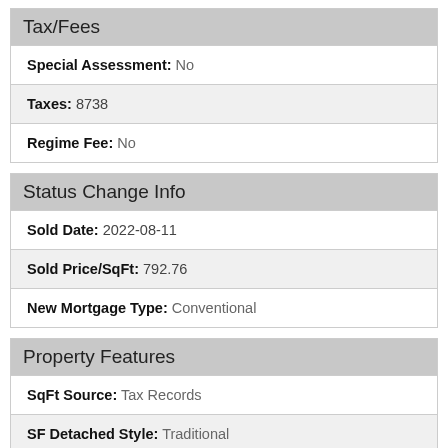Tax/Fees
Special Assessment: No
Taxes: 8738
Regime Fee: No
Status Change Info
Sold Date: 2022-08-11
Sold Price/SqFt: 792.76
New Mortgage Type: Conventional
Property Features
SqFt Source: Tax Records
SF Detached Style: Traditional
Lot Description: .5 - 1 Acre; Cul-De-Sac; Waterfront Deep